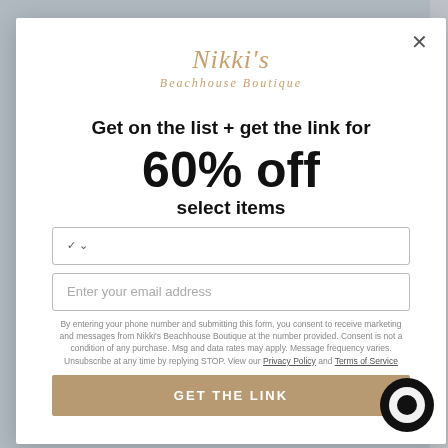[Figure (logo): Nikki's Beachhouse Boutique logo in gold/tan italic script]
Get on the list + get the link for 60% off select items
[Figure (screenshot): Phone number dropdown input field with chevron]
[Figure (screenshot): Email address input field with placeholder text]
By entering your phone number and submitting this form, you consent to receive marketing and messages from Nikki's Beachhouse Boutique at the number provided. Consent is not a condition of any purchase. Msg and data rates may apply. Message frequency varies. Unsubscribe at any time by replying STOP. View our Privacy Policy and Terms of Service
GET THE LINK